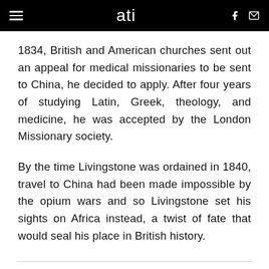ati
1834, British and American churches sent out an appeal for medical missionaries to be sent to China, he decided to apply. After four years of studying Latin, Greek, theology, and medicine, he was accepted by the London Missionary society.
By the time Livingstone was ordained in 1840, travel to China had been made impossible by the opium wars and so Livingstone set his sights on Africa instead, a twist of fate that would seal his place in British history.